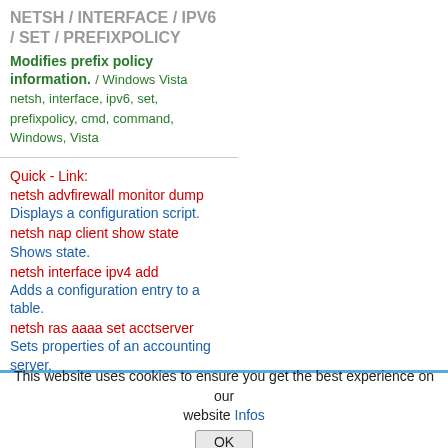NETSH / INTERFACE / IPV6 / SET / PREFIXPOLICY
Modifies prefix policy information. / Windows Vista netsh, interface, ipv6, set, prefixpolicy, cmd, command, Windows, Vista
Quick - Link:
netsh advfirewall monitor dump
Displays a configuration script.
netsh nap client show state
Shows state.
netsh interface ipv4 add
Adds a configuration entry to a table.
netsh ras aaaa set acctserver
Sets properties of an accounting server.
netsh interface ipv6 show dnsservers
Displays the DNS server addresses.
netsh show helper
Lists all the top level helpers
This website uses cookies to ensure you get the best experience on our website Infos OK